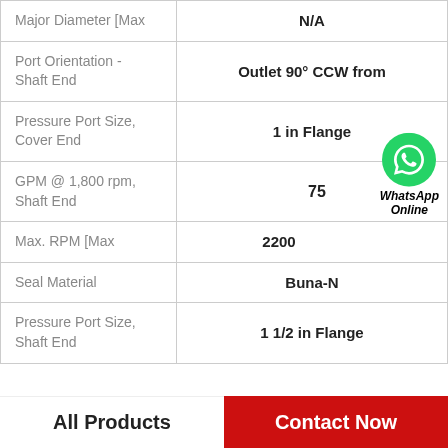| Property | Value |
| --- | --- |
| Major Diameter [Max | N/A |
| Port Orientation - Shaft End | Outlet 90° CCW from |
| Pressure Port Size, Cover End | 1 in Flange |
| GPM @ 1,800 rpm, Shaft End | 75 |
| Max. RPM [Max | 2200 |
| Seal Material | Buna-N |
| Pressure Port Size, Shaft End | 1 1/2 in Flange |
[Figure (logo): WhatsApp green circle icon with white phone handset, labeled 'WhatsApp Online' in bold italic]
All Products
Contact Now